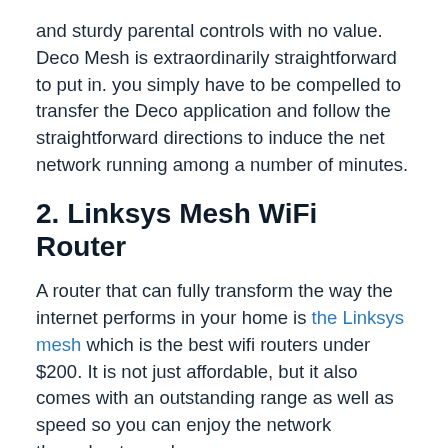and sturdy parental controls with no value. Deco Mesh is extraordinarily straightforward to put in. you simply have to be compelled to transfer the Deco application and follow the straightforward directions to induce the net network running among a number of minutes.
2. Linksys Mesh WiFi Router
A router that can fully transform the way the internet performs in your home is the Linksys mesh which is the best wifi routers under $200. It is not just affordable, but it also comes with an outstanding range as well as speed so you can enjoy the network throughout your home.
This router offers a speed of up to 2200 Mbps that is ideal for intensive activities online, like streaming a 4K movie or playing games.